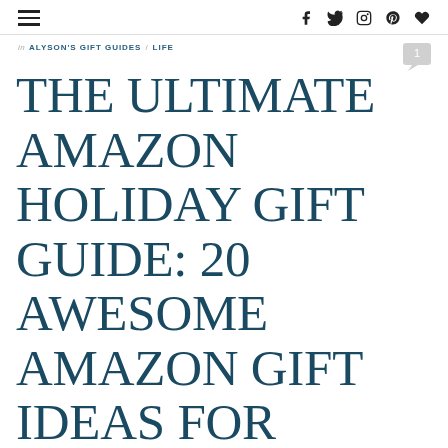≡  f  𝕏  ⊙  ⊕  ♥
IN ALYSON'S GIFT GUIDES / LIFE
THE ULTIMATE AMAZON HOLIDAY GIFT GUIDE: 20 AWESOME AMAZON GIFT IDEAS FOR EVERYONE ON YOUR LIST